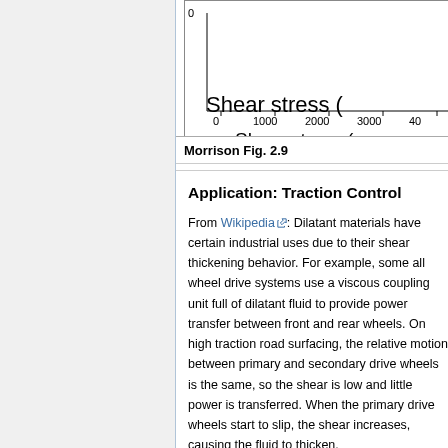[Figure (continuous-plot): Partial view of a plot showing shear stress on the x-axis (values 0, 1000, 2000, 3000, 4000+) and y-axis starting at 0. The x-axis label reads 'Shear stress (' (truncated). This appears to be Morrison Fig. 2.9.]
Morrison Fig. 2.9
Application: Traction Control
From Wikipedia: Dilatant materials have certain industrial uses due to their shear thickening behavior. For example, some all wheel drive systems use a viscous coupling unit full of dilatant fluid to provide power transfer between front and rear wheels. On high traction road surfacing, the relative motion between primary and secondary drive wheels is the same, so the shear is low and little power is transferred. When the primary drive wheels start to slip, the shear increases, causing the fluid to thicken.